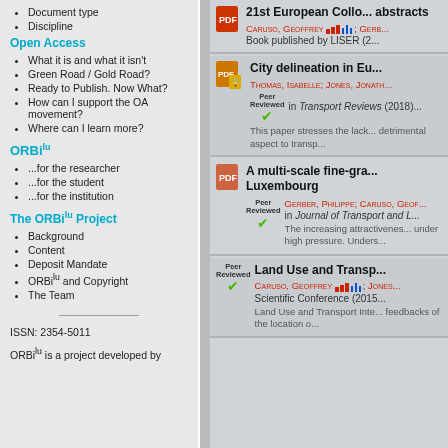Document type
Discipline
Open Access
What it is and what it isn't
Green Road / Gold Road?
Ready to Publish. Now What?
How can I support the OA movement?
Where can I learn more?
ORBilu
...for the researcher
...for the student
...for the institution
The ORBilu Project
Background
Content
Deposit Mandate
ORBilu and Copyright
The Team
ISSN: 2354-5011
ORBilu is a project developed by
21st European Colloo... abstracts
CARUSO, GEOFFREY; GERB...
Book published by LISER (2...
City delineation in Eu...
THOMAS, ISABELLE; JONES, JONATH...
in Transport Reviews (2018)
This paper stresses the lack... detrimental aspect to transp...
A multi-scale fine-gra... Luxembourg
GERBER, PHILIPPE; CARUSO, GEOF...
in Journal of Transport and L...
The increasing attractivenes... under high pressure. Unders...
Land Use and Transp...
CARUSO, GEOFFREY; JONES...
Scientific Conference (2015...
Land Use and Transport Inte... feedbacks of the location o...